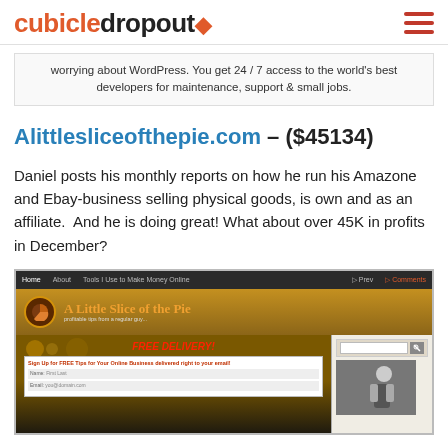cubicledropout
worrying about WordPress. You get 24 / 7 access to the world's best developers for maintenance, support & small jobs.
Alittlesliceofthepie.com – ($45134)
Daniel posts his monthly reports on how he run his Amazone and Ebay-business selling physical goods, is own and as an affiliate.  And he is doing great! What about over 45K in profits in December?
[Figure (screenshot): Screenshot of the website 'A Little Slice of the Pie' showing the site header with logo, navigation bar, and a promotional section with 'FREE DELIVERY!' text and an email signup form.]